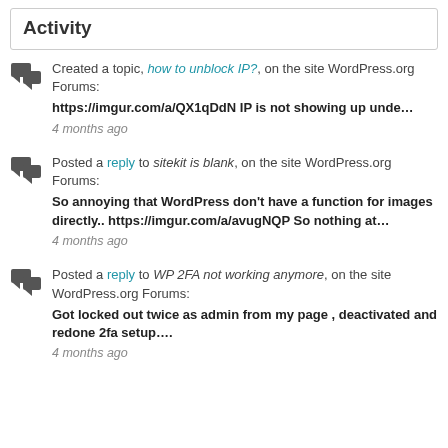Activity
Created a topic, how to unblock IP?, on the site WordPress.org Forums: https://imgur.com/a/QX1qDdN IP is not showing up unde… 4 months ago
Posted a reply to sitekit is blank, on the site WordPress.org Forums: So annoying that WordPress don't have a function for images directly.. https://imgur.com/a/avugNQP So nothing at… 4 months ago
Posted a reply to WP 2FA not working anymore, on the site WordPress.org Forums: Got locked out twice as admin from my page , deactivated and redone 2fa setup…. 4 months ago